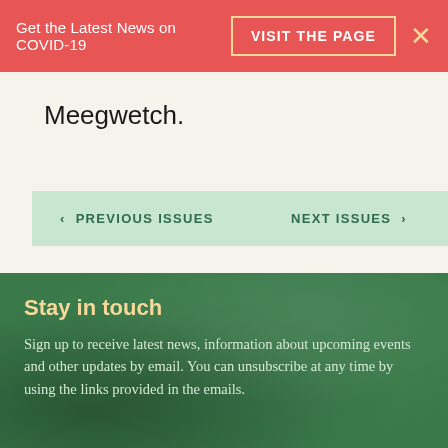Get the Latest News on COVID-19  VISIT THE PAGE  ×
Meegwetch.
< PREVIOUS ISSUES
NEXT ISSUES >
Stay in touch
Sign up to receive latest news, information about upcoming events and other updates by email. You can unsubscribe at any time by using the links provided in the emails.